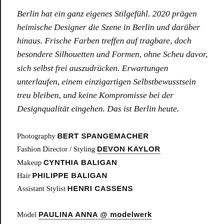Berlin hat ein ganz eigenes Stilgefühl. 2020 prägen heimische Designer die Szene in Berlin und darüber hinaus. Frische Farben treffen auf tragbare, doch besondere Silhouetten und Formen, ohne Scheu davor, sich selbst frei auszudrücken. Erwartungen unterlaufen, einem einzigartigen Selbstbewusstsein treu bleiben, und keine Kompromisse bei der Designqualität eingehen. Das ist Berlin heute.
Photography BERT SPANGEMACHER
Fashion Director / Styling DEVON KAYLOR
Makeup CYNTHIA BALIGAN
Hair PHILIPPE BALIGAN
Assistant Stylist HENRI CASSENS
Model PAULINA ANNA @ modelwerk